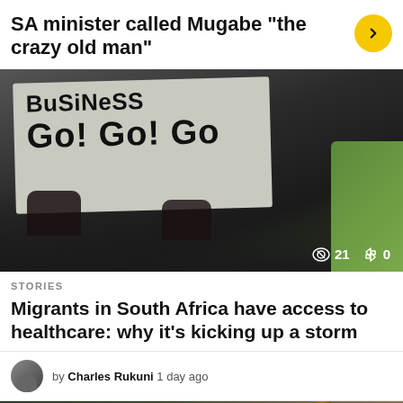SA minister called Mugabe “the crazy old man”
[Figure (photo): A person holding a handwritten sign reading 'BUSINESS go! go! go!' at what appears to be a protest. Stats overlay shows 21 likes and 0 shares.]
STORIES
Migrants in South Africa have access to healthcare: why it’s kicking up a storm
by Charles Rukuni 1 day ago
[Figure (photo): Bottom portion of a news article image showing a person wearing a cap with a Zimbabwe flag badge, with a fire icon button on the left and an up arrow button on the right.]